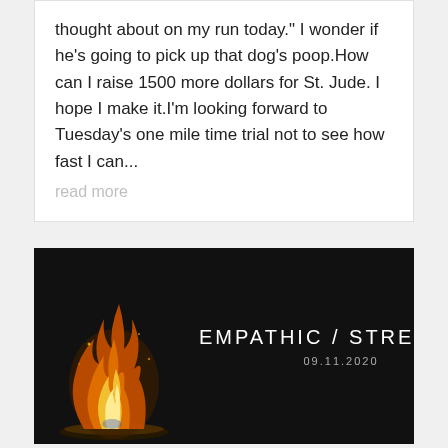thought about on my run today." I wonder if he's going to pick up that dog's poop.How can I raise 1500 more dollars for St. Jude. I hope I make it.I'm looking forward to Tuesday's one mile time trial not to see how fast I can...
read more
[Figure (photo): Dark background photo with a small fire/flame visible on the left side. On the right side text reads 'EMPATHIC / STRENGTH' in white letters with date '09.11.2020' below it.]